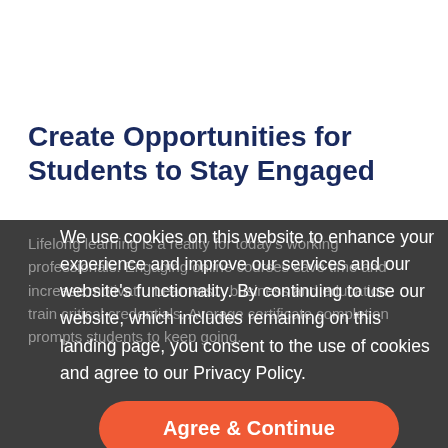Create Opportunities for Students to Stay Engaged
Lifelong learning is a reality for today's working professionals. Engaging online courses save time and increase... Learners... business and education... critical credentials. Average certificate completion prompts students to keep going.
We use cookies on this website to enhance your experience and improve our services and our website's functionality. By continuing to use our website, which includes remaining on this landing page, you consent to the use of cookies and agree to our Privacy Policy.
Agree & Continue